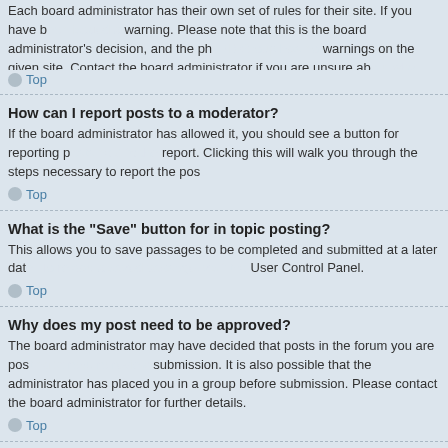Each board administrator has their own set of rules for their site. If you have been warned. Please note that this is the board administrator's decision, and the phpBB warnings on the given site. Contact the board administrator if you are unsure about why you were issued a warning.
Top
How can I report posts to a moderator?
If the board administrator has allowed it, you should see a button for reporting posts. Clicking this will walk you through the steps necessary to report the post.
Top
What is the “Save” button for in topic posting?
This allows you to save passages to be completed and submitted at a later date. To reload a saved passage, visit the User Control Panel.
Top
Why does my post need to be approved?
The board administrator may have decided that posts in the forum you are posting to require review before submission. It is also possible that the administrator has placed you in a group of users whose posts require review before submission. Please contact the board administrator for further details.
Top
How do I bump my topic?
By clicking the “Bump topic” link when you are viewing it, you can “bump” the topic to the top of the forum on the first page. However, if you do not see this, then topic bumping may be disabled or the time allowance between bumps has not yet been reached. It is also possible to bump the topic simply by replying to it, however, be sure to follow the board rules when doing so.